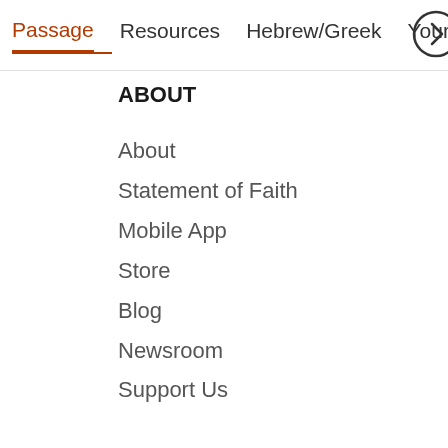Passage   Resources   Hebrew/Greek   Your Cont >
ABOUT
About
Statement of Faith
Mobile App
Store
Blog
Newsroom
Support Us
HELP
FAQs
Tutorials
Use Bible Gateway on Your Site